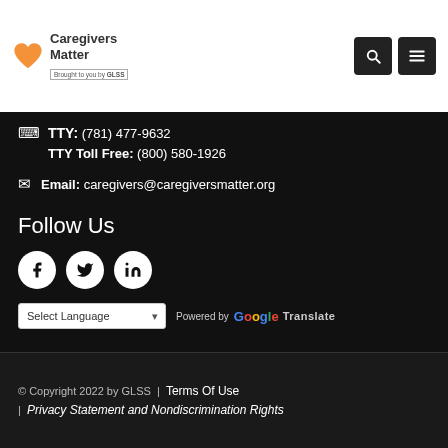[Figure (logo): Caregivers Matter logo - orange heart icon with text 'Caregivers Matter' and 'Brought to you by GLSS']
TTY: (781) 477-9632
TTY Toll Free: (800) 580-1926
Email: caregivers@caregiversmatter.org
Follow Us
[Figure (illustration): Social media icons: Facebook, Twitter, LinkedIn - white icons on dark circular backgrounds]
Select Language - Powered by Google Translate
© Copyright 2022 by GLSS  |  Terms Of Use  |  Privacy Statement and Nondiscrimination Rights